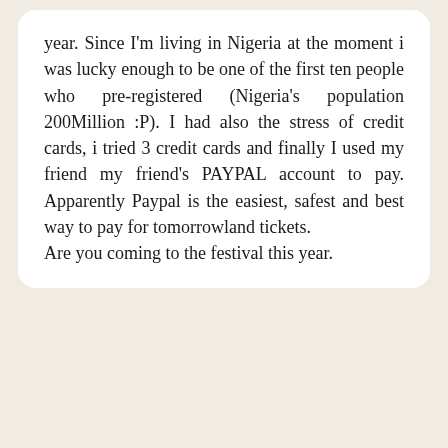year. Since I'm living in Nigeria at the moment i was lucky enough to be one of the first ten people who pre-registered (Nigeria's population 200Million :P). I had also the stress of credit cards, i tried 3 credit cards and finally I used my friend my friend's PAYPAL account to pay. Apparently Paypal is the easiest, safest and best way to pay for tomorrowland tickets.
Are you coming to the festival this year.
REPLY
[Figure (photo): Circular avatar photo of a blonde woman named Alex]
Alex
April 6 2015